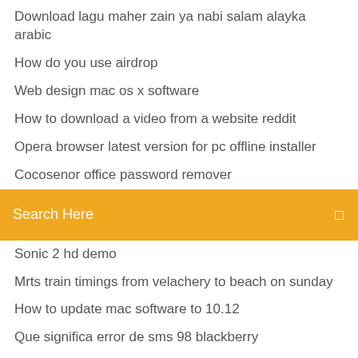Download lagu maher zain ya nabi salam alayka arabic
How do you use airdrop
Web design mac os x software
How to download a video from a website reddit
Opera browser latest version for pc offline installer
Cocosenor office password remover
[Figure (screenshot): Orange search bar with text 'Search Here' and a search icon on the right]
Sonic 2 hd demo
Mrts train timings from velachery to beach on sunday
How to update mac software to 10.12
Que significa error de sms 98 blackberry
Download winrar windows 10 64
How to change the screen upside down on computer
King arthur legend of the sword download mp4
Download amazon app for samsung tablet
Playstation emulator for pc download
Transfer outlook express to windows 10 mail
Craftsman yt 4000 lawn tractor